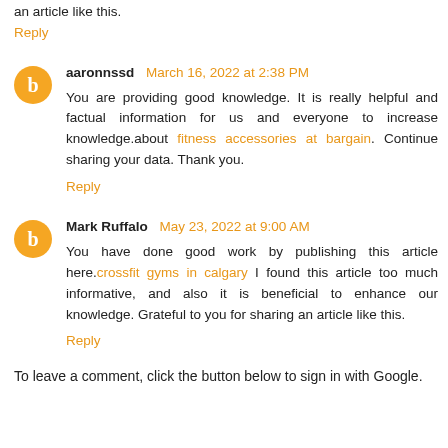an article like this.
Reply
aaronnssd March 16, 2022 at 2:38 PM
You are providing good knowledge. It is really helpful and factual information for us and everyone to increase knowledge.about fitness accessories at bargain. Continue sharing your data. Thank you.
Reply
Mark Ruffalo May 23, 2022 at 9:00 AM
You have done good work by publishing this article here.crossfit gyms in calgary I found this article too much informative, and also it is beneficial to enhance our knowledge. Grateful to you for sharing an article like this.
Reply
To leave a comment, click the button below to sign in with Google.